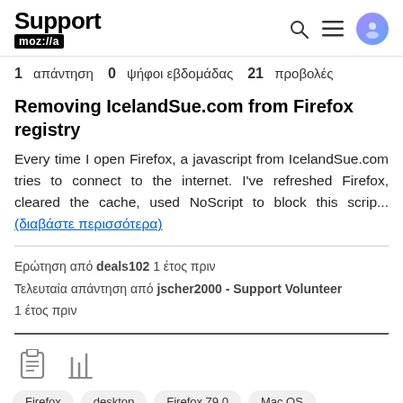Support mozilla // a
1 απάντηση  0  ψήφοι εβδομάδας  21  προβολές
Removing IcelandSue.com from Firefox registry
Every time I open Firefox, a javascript from IcelandSue.com tries to connect to the internet. I've refreshed Firefox, cleared the cache, used NoScript to block this scrip... (διαβάστε περισσότερα)
Ερώτηση από deals102 1 έτος πριν
Τελευταία απάντηση από jscher2000 - Support Volunteer 1 έτος πριν
Firefox  desktop  Firefox 79.0  Mac OS